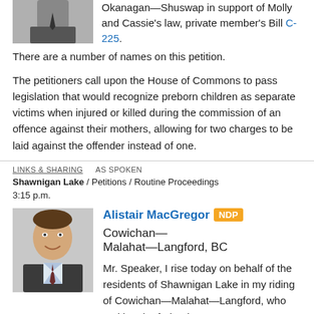[Figure (photo): Partial photo of a person in suit and tie, cropped at top]
Okanagan—Shuswap in support of Molly and Cassie's law, private member's Bill C-225.
There are a number of names on this petition.
The petitioners call upon the House of Commons to pass legislation that would recognize preborn children as separate victims when injured or killed during the commission of an offence against their mothers, allowing for two charges to be laid against the offender instead of one.
LINKS & SHARING   AS SPOKEN
Shawnigan Lake / Petitions / Routine Proceedings
3:15 p.m.
[Figure (photo): Headshot of Alistair MacGregor, smiling man in suit]
Alistair MacGregor NDP Cowichan—Malahat—Langford, BC
Mr. Speaker, I rise today on behalf of the residents of Shawnigan Lake in my riding of Cowichan—Malahat—Langford, who petition the federal government to protect Shawnigan